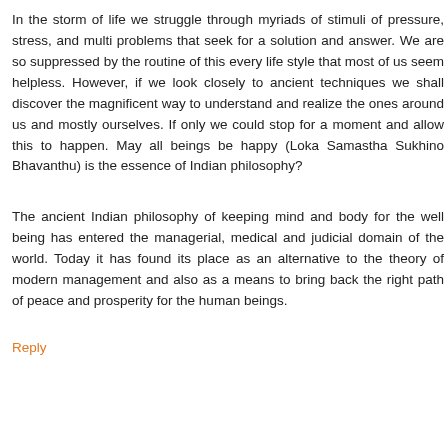In the storm of life we struggle through myriads of stimuli of pressure, stress, and multi problems that seek for a solution and answer. We are so suppressed by the routine of this every life style that most of us seem helpless. However, if we look closely to ancient techniques we shall discover the magnificent way to understand and realize the ones around us and mostly ourselves. If only we could stop for a moment and allow this to happen. May all beings be happy (Loka Samastha Sukhino Bhavanthu) is the essence of Indian philosophy?
The ancient Indian philosophy of keeping mind and body for the well being has entered the managerial, medical and judicial domain of the world. Today it has found its place as an alternative to the theory of modern management and also as a means to bring back the right path of peace and prosperity for the human beings.
Reply